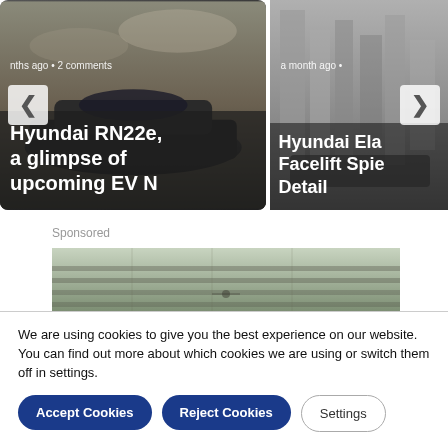[Figure (screenshot): Carousel card: Hyundai RN22e car article thumbnail with title overlay. Meta text: 'nths ago • 2 comments'. Title: 'Hyundai RN22e, a glimpse of upcoming EV N']
[Figure (screenshot): Carousel card: Hyundai Elantra Facelift article thumbnail. Meta text: 'a month ago •'. Title: 'Hyundai Ela Facelift Spie Detail' (partially clipped)]
Sponsored
[Figure (photo): Sponsored advertisement image showing what appears to be a car grille or similar automotive detail in grey/green tones]
We are using cookies to give you the best experience on our website.
You can find out more about which cookies we are using or switch them off in settings.
Accept Cookies
Reject Cookies
Settings